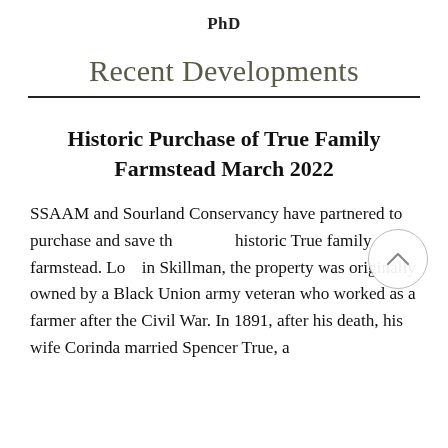PhD
Recent Developments
Historic Purchase of True Family Farmstead March 2022
SSAAM and Sourland Conservancy have partnered to purchase and save the historic True family farmstead. Located in Skillman, the property was originally owned by a Black Union army veteran who worked as a farmer after the Civil War. In 1891, after his death, his wife Corinda married Spencer True, a